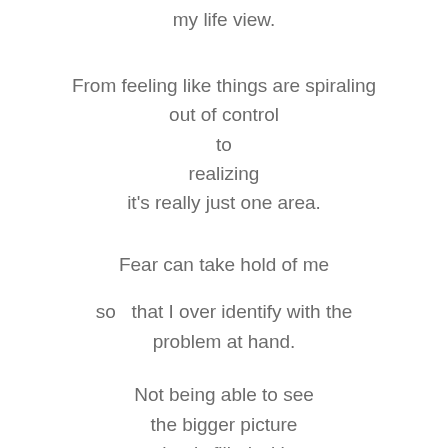my life view.
From feeling like things are spiraling
out of control
to
realizing
it's really just one area.
Fear can take hold of me
so  that I over identify with the
problem at hand.
Not being able to see
the bigger picture
that is filled with
so much Good!